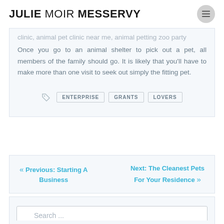JULIE MOIR MESSERVY
clinic, animal pet clinic near me, animal petting zoo party Once you go to an animal shelter to pick out a pet, all members of the family should go. It is likely that you'll have to make more than one visit to seek out simply the fitting pet.
ENTERPRISE  GRANTS  LOVERS
« Previous: Starting A Business   Next: The Cleanest Pets For Your Residence »
Search ...